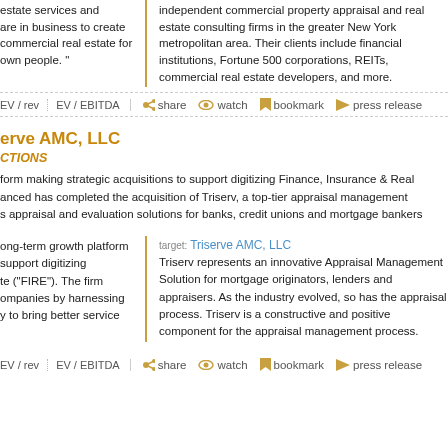estate services and are in business to create commercial real estate for own people."
independent commercial property appraisal and real estate consulting firms in the greater New York metropolitan area. Their clients include financial institutions, Fortune 500 corporations, REITs, commercial real estate developers, and more.
EV / rev  EV / EBITDA  share  watch  bookmark  press release
erve AMC, LLC
CTIONS
form making strategic acquisitions to support digitizing Finance, Insurance & Real anced has completed the acquisition of Triserv, a top-tier appraisal management s appraisal and evaluation solutions for banks, credit unions and mortgage bankers
ong-term growth platform support digitizing te ("FIRE"). The firm ompanies by harnessing y to bring better service
target: Triserve AMC, LLC
Triserv represents an innovative Appraisal Management Solution for mortgage originators, lenders and appraisers. As the industry evolved, so has the appraisal process. Triserv is a constructive and positive component for the appraisal management process.
EV / rev  EV / EBITDA  share  watch  bookmark  press release